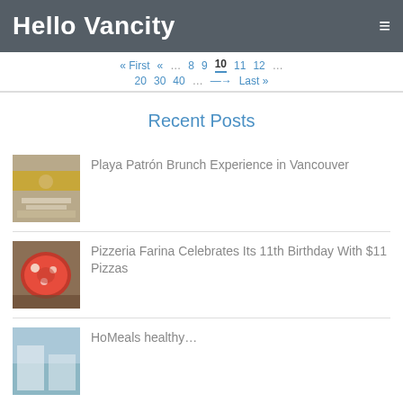Hello Vancity
« First  «  …  8  9  10  11  12  …
20  30  40  …  →  Last »
Recent Posts
Playa Patrón Brunch Experience in Vancouver
Pizzeria Farina Celebrates Its 11th Birthday With $11 Pizzas
HoMeals healthy…